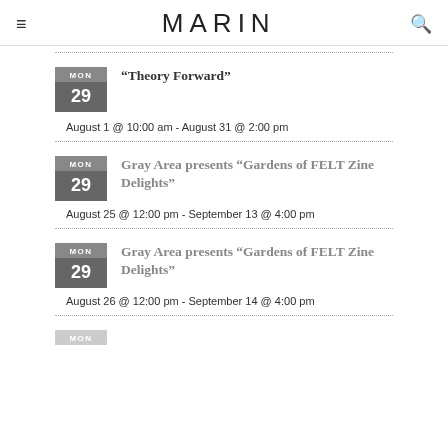MARIN
MON 29 | "Theory Forward" | August 1 @ 10:00 am - August 31 @ 2:00 pm
MON 29 | Gray Area presents “Gardens of FELT Zine Delights” | August 25 @ 12:00 pm - September 13 @ 4:00 pm
MON 29 | Gray Area presents “Gardens of FELT Zine Delights” | August 26 @ 12:00 pm - September 14 @ 4:00 pm
MON 29 | (partial)